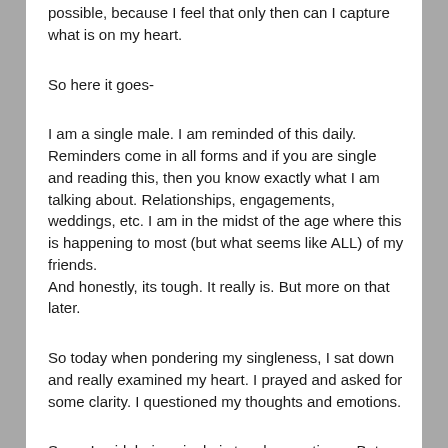possible, because I feel that only then can I capture what is on my heart.
So here it goes-
I am a single male. I am reminded of this daily. Reminders come in all forms and if you are single and reading this, then you know exactly what I am talking about. Relationships, engagements, weddings, etc. I am in the midst of the age where this is happening to most (but what seems like ALL) of my friends.
And honestly, its tough. It really is. But more on that later.
So today when pondering my singleness, I sat down and really examined my heart. I prayed and asked for some clarity. I questioned my thoughts and emotions.
So as I said, being single is tough sometimes. But why is that? What causes the emotions that lead us to want to be with someone? Where does the longing come from?
I mean, of course I want to have my own family one day, but isn't that a really shallow perspective when you think